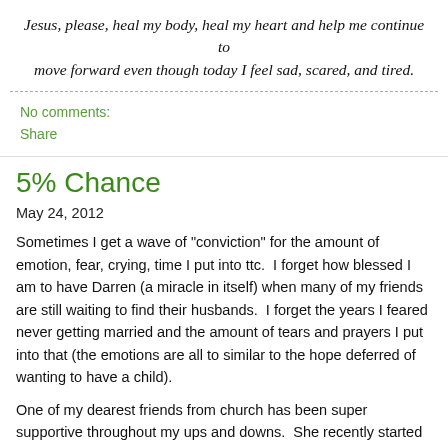Jesus, please, heal my body, heal my heart and help me continue to move forward even though today I feel sad, scared, and tired.
No comments:
Share
5% Chance
May 24, 2012
Sometimes I get a wave of "conviction" for the amount of emotion, fear, crying, time I put into ttc.  I forget how blessed I am to have Darren (a miracle in itself) when many of my friends are still waiting to find their husbands.  I forget the years I feared never getting married and the amount of tears and prayers I put into that (the emotions are all to similar to the hope deferred of wanting to have a child).
One of my dearest friends from church has been super supportive throughout my ups and downs.  She recently started trying to